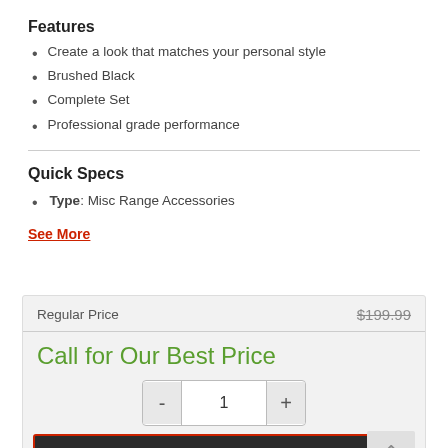Features
Create a look that matches your personal style
Brushed Black
Complete Set
Professional grade performance
Quick Specs
Type: Misc Range Accessories
See More
| Regular Price | $199.99 |
| --- | --- |
Call for Our Best Price
Request Quote